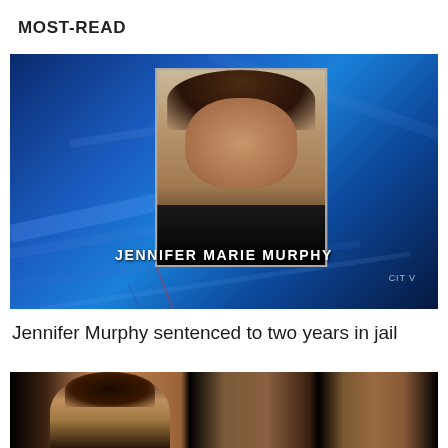MOST-READ
[Figure (screenshot): TV news screenshot showing a mugshot of Jennifer Marie Murphy on a blue background with CITV logo]
Jennifer Murphy sentenced to two years in jail
[Figure (photo): Partial photo of a person with dark hair in front of a brick wall background]